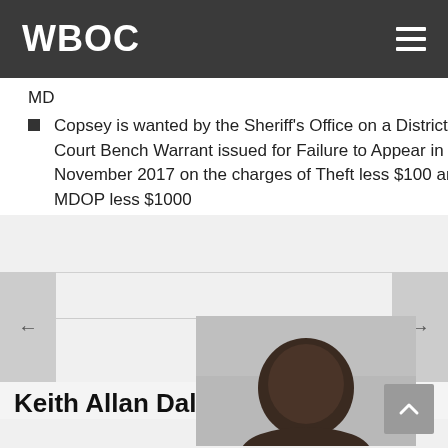WBOC
MD
Copsey is wanted by the Sheriff's Office on a District Court Bench Warrant issued for Failure to Appear in November 2017 on the charges of Theft less $100 and MDOP less $1000
Keith Allan Dale Jr.
[Figure (photo): Mugshot/booking photo of Keith Allan Dale Jr., a Black male, grayscale image showing head and shoulders]